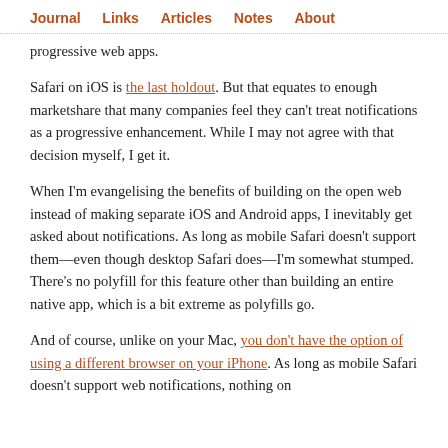Journal  Links  Articles  Notes  About
progressive web apps.
Safari on iOS is the last holdout. But that equates to enough marketshare that many companies feel they can't treat notifications as a progressive enhancement. While I may not agree with that decision myself, I get it.
When I'm evangelising the benefits of building on the open web instead of making separate iOS and Android apps, I inevitably get asked about notifications. As long as mobile Safari doesn't support them—even though desktop Safari does—I'm somewhat stumped. There's no polyfill for this feature other than building an entire native app, which is a bit extreme as polyfills go.
And of course, unlike on your Mac, you don't have the option of using a different browser on your iPhone. As long as mobile Safari doesn't support web notifications, nothing on